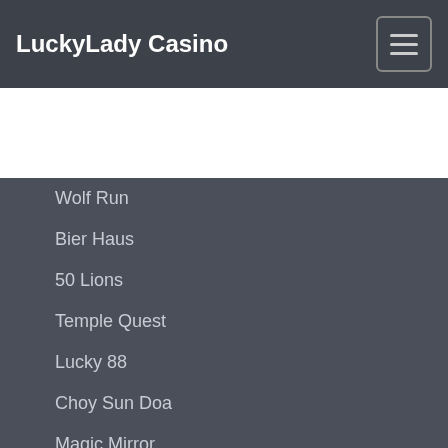LuckyLady Casino
[Figure (screenshot): Colorful decorative casino game banner image with ornate design elements in blues, greens and reds]
Wolf Run
Bier Haus
50 Lions
Temple Quest
Lucky 88
Choy Sun Doa
Magic Mirror
Egypt Sky